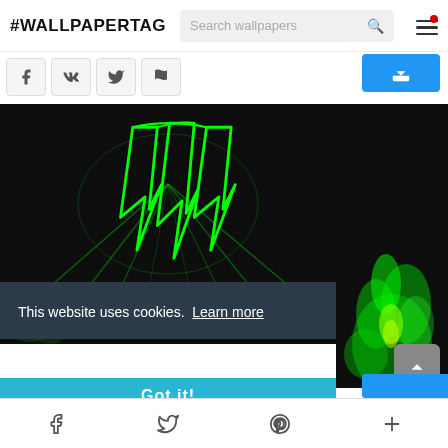#WALLPAPERTAG
[Figure (screenshot): Website screenshot showing #WALLPAPERTAG wallpaper site with Monster Energy wallpaper, cookie banner overlay, and mobile navigation]
This website uses cookies.  Learn more
Got it!